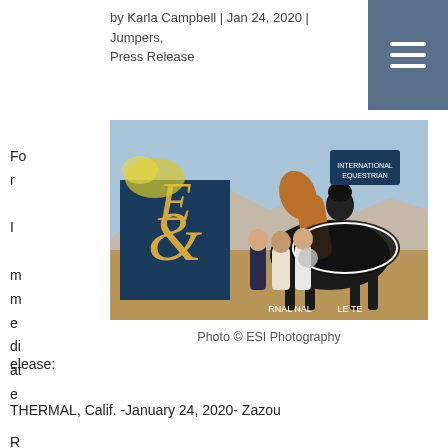by Karla Campbell | Jan 24, 2020 | Jumpers, Press Release
[Figure (photo): Equestrian photo: A rider on a chestnut horse wearing a black blanket with white trim, posing with two people standing in front of an EQ logo banner at an outdoor show jumping venue.]
Photo © ESI Photography
For Immediate Release:
THERMAL, Calif. -January 24, 2020- Zazou